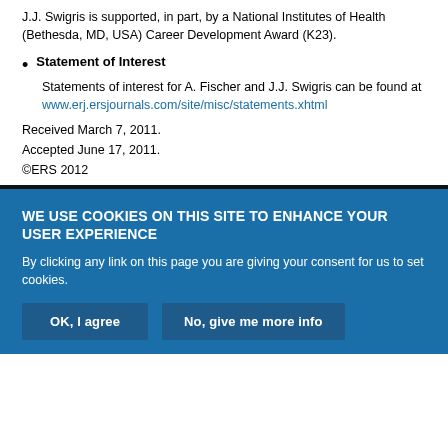J.J. Swigris is supported, in part, by a National Institutes of Health (Bethesda, MD, USA) Career Development Award (K23).
Statement of Interest
Statements of interest for A. Fischer and J.J. Swigris can be found at www.erj.ersjournals.com/site/misc/statements.xhtml
Received March 7, 2011.
Accepted June 17, 2011.
©ERS 2012
WE USE COOKIES ON THIS SITE TO ENHANCE YOUR USER EXPERIENCE
By clicking any link on this page you are giving your consent for us to set cookies.
OK, I agree
No, give me more info